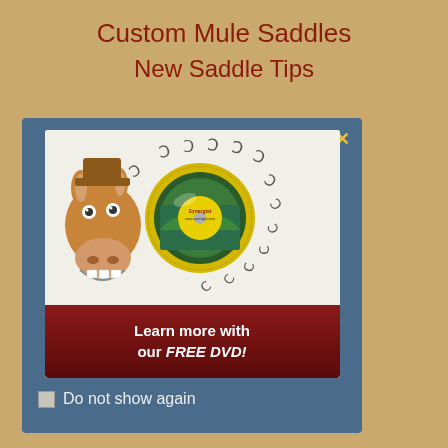Custom Mule Saddles
New Saddle Tips
[Figure (illustration): Modal popup dialog on a tan background. Contains an advertisement with a cartoon mule face, a DVD disc graphic, horseshoe prints, and a dark red button reading 'Learn more with our FREE DVD!'. A yellow X close button is in the top right. Below the modal is a 'Do not show again' checkbox.]
Do not show again